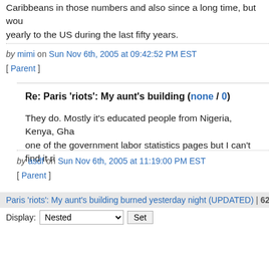Caribbeans in those numbers and also since a long time, but would emigrate yearly to the US during the last fifty years.
by mimi on Sun Nov 6th, 2005 at 09:42:52 PM EST
[ Parent ]
Re: Paris 'riots': My aunt's building (none / 0)
They do. Mostly it's educated people from Nigeria, Kenya, Ghana. I once saw it on one of the government labor statistics pages but I can't find it right now.
by asdf on Sun Nov 6th, 2005 at 11:19:00 PM EST
[ Parent ]
Paris 'riots': My aunt's building burned yesterday night (UPDATED) | 62
Display: Nested Set